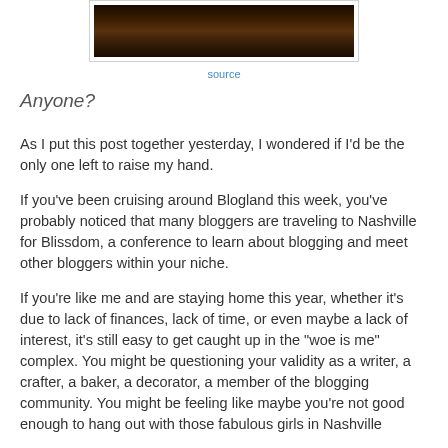[Figure (photo): A dark photograph showing people gathered, likely at a social event, with warm amber/dark tones]
source
Anyone?
As I put this post together yesterday, I wondered if I'd be the only one left to raise my hand.
If you've been cruising around Blogland this week, you've probably noticed that many bloggers are traveling to Nashville for Blissdom, a conference to learn about blogging and meet other bloggers within your niche.
If you're like me and are staying home this year, whether it's due to lack of finances, lack of time, or even maybe a lack of interest, it's still easy to get caught up in the "woe is me" complex. You might be questioning your validity as a writer, a crafter, a baker, a decorator, a member of the blogging community. You might be feeling like maybe you're not good enough to hang out with those fabulous girls in Nashville